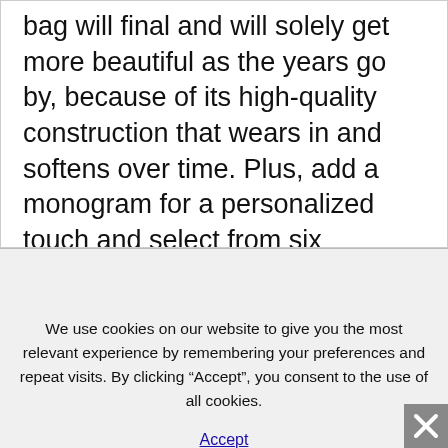bag will final and will solely get more beautiful as the years go by, because of its high-quality construction that wears in and softens over time. Plus, add a monogram for a personalized touch and select from six gorgeous colors, including blood orange, black, caramel, forest, stone, and textured black. Crossbody luggage are a great
We use cookies on our website to give you the most relevant experience by remembering your preferences and repeat visits. By clicking “Accept”, you consent to the use of all cookies.
Accept
As part of Target’s twentieth anniversary, the company re-released all of their collaborations and this three.1 Phillip Lim bag made the reduce. The gold finished hardware makes it look a lot more costly